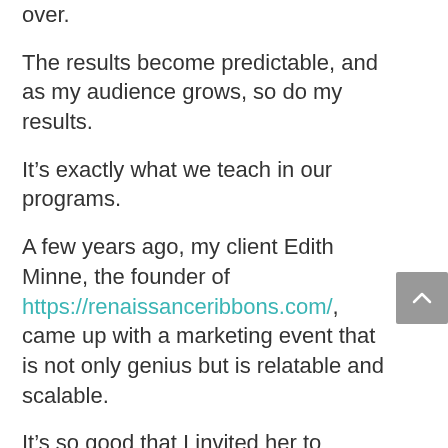over.
The results become predictable, and as my audience grows, so do my results.
It’s exactly what we teach in our programs.
A few years ago, my client Edith Minne, the founder of https://renaissanceribbons.com/, came up with a marketing event that is not only genius but is relatable and scalable.
It’s so good that I invited her to